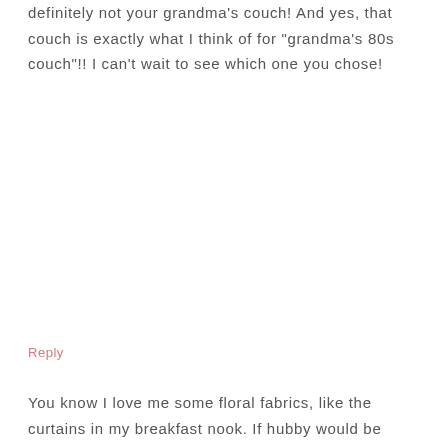definitely not your grandma's couch! And yes, that couch is exactly what I think of for "grandma's 80s couch"!! I can't wait to see which one you chose!
Reply
[Figure (illustration): Gray circular avatar icon showing silhouette of a person]
CRAFTIVITY DESIGNS
says
NOVEMBER 1, 2016 AT 5:07 PM
You know I love me some floral fabrics, like the curtains in my breakfast nook. If hubby would be